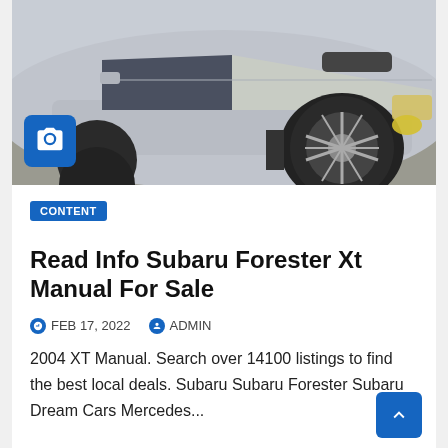[Figure (photo): Silver Subaru Forester XT parked, showing front wheel, hood with scoop, and yellow fog light. Camera icon badge in bottom-left corner.]
CONTENT
Read Info Subaru Forester Xt Manual For Sale
FEB 17, 2022   ADMIN
2004 XT Manual. Search over 14100 listings to find the best local deals. Subaru Subaru Forester Subaru Dream Cars Mercedes...